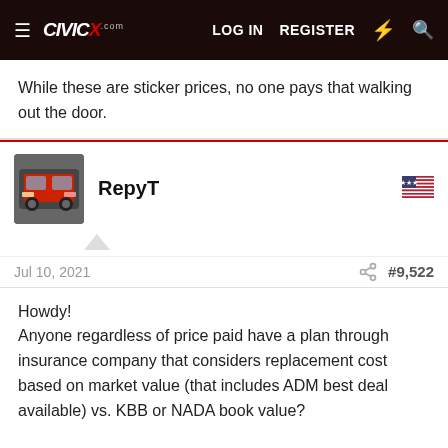CivicX.com — LOG IN  REGISTER
While these are sticker prices, no one pays that walking out the door.
RepyT
Jul 10, 2021  #9,522
Howdy!
Anyone regardless of price paid have a plan through insurance company that considers replacement cost based on market value (that includes ADM best deal available) vs. KBB or NADA book value?

For example, my 2019 CTR bought for $36.2k in Oct of 2019 (now w/13k miles) might be valued at $32k-36k